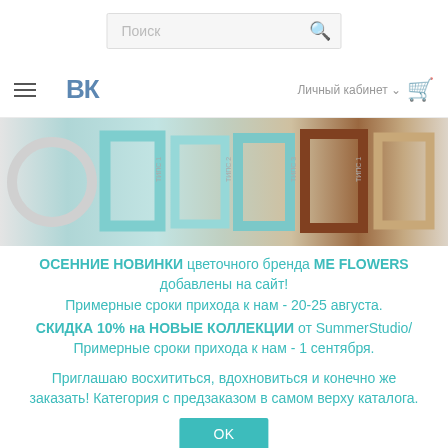Поиск
[Figure (screenshot): Navigation bar with hamburger menu, VK logo, Личный кабинет dropdown, and shopping cart icon]
[Figure (photo): Banner showing various picture frames — oval white frame, teal rectangular frames, brown and beige rectangular frames]
ОСЕННИЕ НОВИНКИ цветочного бренда ME FLOWERS добавлены на сайт!
Примерные сроки прихода к нам - 20-25 августа.
СКИДКА 10% на НОВЫЕ КОЛЛЕКЦИИ от SummerStudio/
Примерные сроки прихода к нам - 1 сентября.
Приглашаю восхититься, вдохновиться и конечно же заказать! Категория с предзаказом в самом верху каталога.